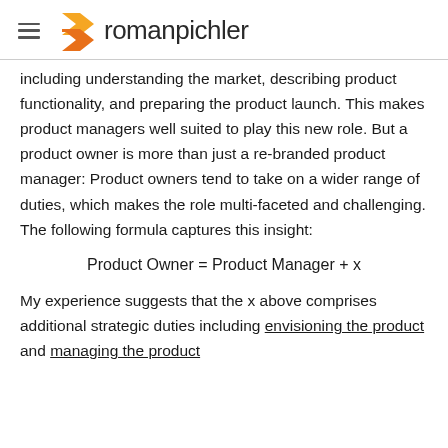romanpichler
including understanding the market, describing product functionality, and preparing the product launch. This makes product managers well suited to play this new role. But a product owner is more than just a re-branded product manager: Product owners tend to take on a wider range of duties, which makes the role multi-faceted and challenging. The following formula captures this insight:
My experience suggests that the x above comprises additional strategic duties including envisioning the product and managing the product